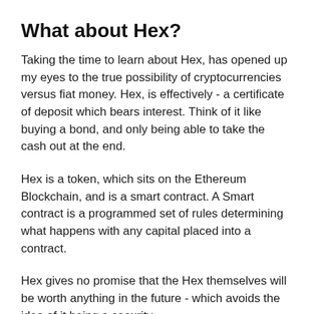What about Hex?
Taking the time to learn about Hex, has opened up my eyes to the true possibility of cryptocurrencies versus fiat money. Hex, is effectively - a certificate of deposit which bears interest. Think of it like buying a bond, and only being able to take the cash out at the end.
Hex is a token, which sits on the Ethereum Blockchain, and is a smart contract. A Smart contract is a programmed set of rules determining what happens with any capital placed into a contract.
Hex gives no promise that the Hex themselves will be worth anything in the future - which avoids the idea of it being a security.